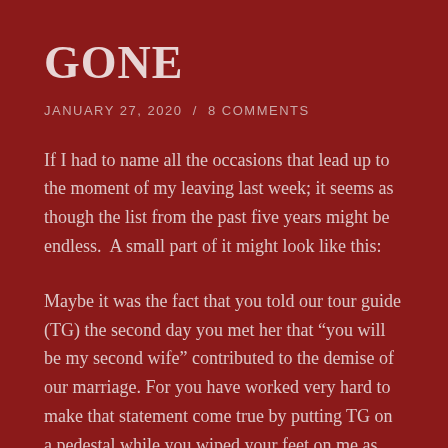GONE
JANUARY 27, 2020  /  8 COMMENTS
If I had to name all the occasions that lead up to the moment of my leaving last week; it seems as though the list from the past five years might be endless.  A small part of it might look like this:
Maybe it was the fact that you told our tour guide (TG) the second day you met her that “you will be my second wife” contributed to the demise of our marriage. For you have worked very hard to make that statement come true by putting TG on a pedestal while you wiped your feet on me as you dusted and shined your Vietnamese FANTASY. You know, the fantasy whom you have spent